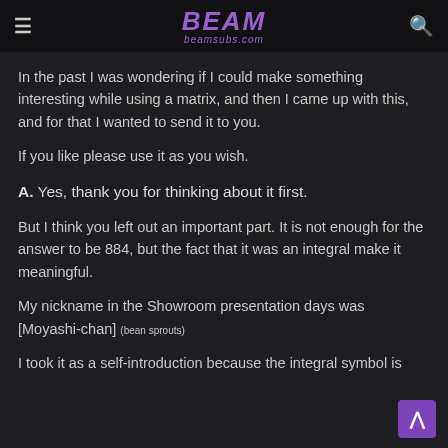BEAM beamsubs.com
In the past I was wondering if I could make something interesting while using a matrix, and then I came up with this, and for that I wanted to send it to you.
If you like please use it as you wish.
A. Yes, thank you for thinking about it first.
But I think you left out an important part. It is not enough for the answer to be 884, but the fact that it was an integral make it meaningful.
My nickname in the Showroom presentation days was [Moyashi-chan] (bean sprouts)
I took it as a self-introduction because the integral symbol is